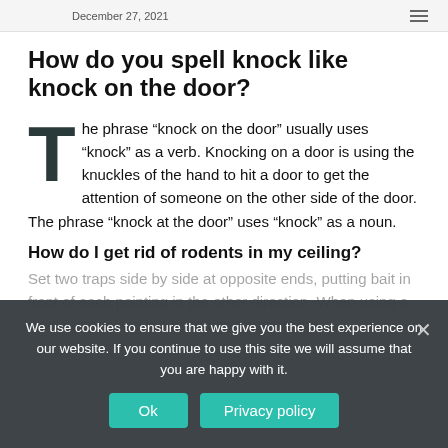December 27, 2021
How do you spell knock like knock on the door?
The phrase “knock on the door” usually uses “knock” as a verb. Knocking on a door is using the knuckles of the hand to hit a door to get the attention of someone on the other side of the door. The phrase “knock at the door” uses “knock” as a noun.
How do I get rid of rodents in my ceiling?
Set two traps side by side at opposite ends, putting bait in front of each pointing in the other direction. When using a single trap, place the baited end against the
We use cookies to ensure that we give you the best experience on our website. If you continue to use this site we will assume that you are happy with it.